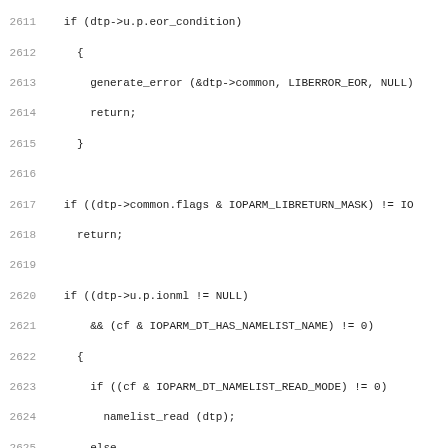[Figure (screenshot): Source code listing in monospace font showing C code lines 2611-2642, with gray line numbers on the left and code on the right. The code includes conditional checks, function calls like generate_error, namelist_read, namelist_write, setjmp, and finish_list_read.]